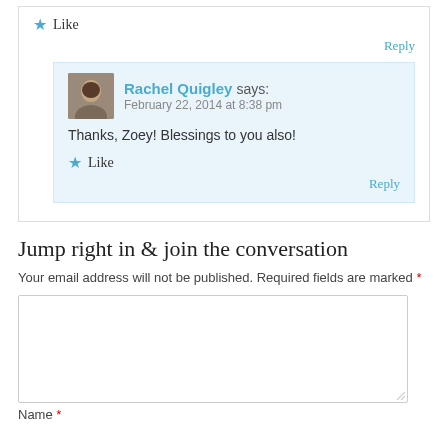Like
Reply
Rachel Quigley says: February 22, 2014 at 8:38 pm
Thanks, Zoey! Blessings to you also!
Like
Reply
Jump right in & join the conversation
Your email address will not be published. Required fields are marked *
Name *